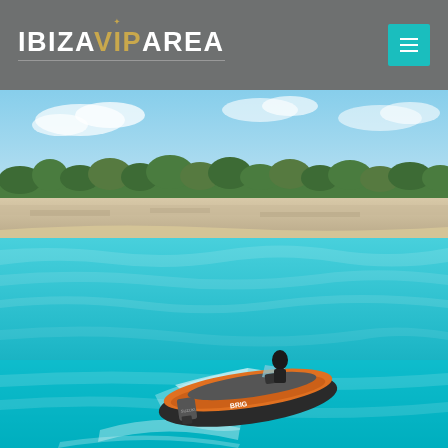IBIZA VIP AREA
[Figure (photo): A RIB (rigid inflatable boat) with orange accents and a Suzuki outboard motor, branded BRIG, speeding through bright turquoise Mediterranean waters near a rocky limestone coastline with low green scrub vegetation under a blue sky with light clouds. A person in dark clothing is at the helm.]